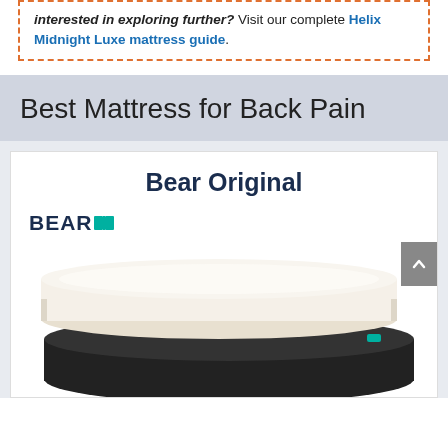Interested in exploring further? Visit our complete Helix Midnight Luxe mattress guide.
Best Mattress for Back Pain
[Figure (other): Bear Original mattress product card showing the Bear logo and a photo of the Bear Original mattress (white top, dark base) on a white background within a light gray card.]